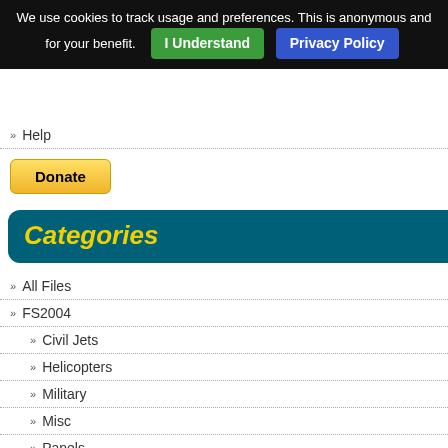We use cookies to track usage and preferences. This is anonymous and for your benefit.
I Understand
Privacy Policy
Help
[Figure (other): PayPal Donate button]
Categories
All Files
FS2004
Civil Jets
Helicopters
Military
Misc
Panels
Payware
Props
Scenery
D model is a popular with Mike Stone.R
Posted Sep 8
FS2004 Deha
Zip file preview 21.10Mb (541
[Figure (photo): Aircraft photo - turboprop plane on blue sky background]
FS2004 Deh regional airlin Canada. An a Sound. In a complete Gro latest versio model featur Door, lift dum definition refe Ref List) are panel and sys Blaisdell, Bob
Posted Sep 8
FS2004 Visco